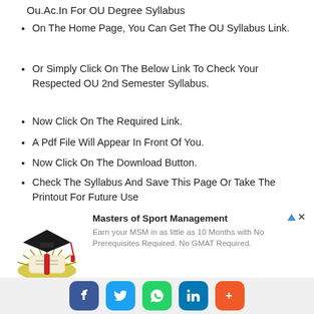Ou.Ac.In For OU Degree Syllabus
On The Home Page, You Can Get The OU Syllabus Link.
Or Simply Click On The Below Link To Check Your Respected OU 2nd Semester Syllabus.
Now Click On The Required Link.
A Pdf File Will Appear In Front Of You.
Now Click On The Download Button.
Check The Syllabus And Save This Page Or Take The Printout For Future Use
[Figure (infographic): Advertisement: Masters of Sport Management. Image of graduation cap with diploma. Text: Earn your MSM in as little as 10 Months with No Prerequisites Required. No GMAT Required.]
[Figure (infographic): Social sharing bar with Facebook, Twitter, WhatsApp, LinkedIn, and More (+) buttons]